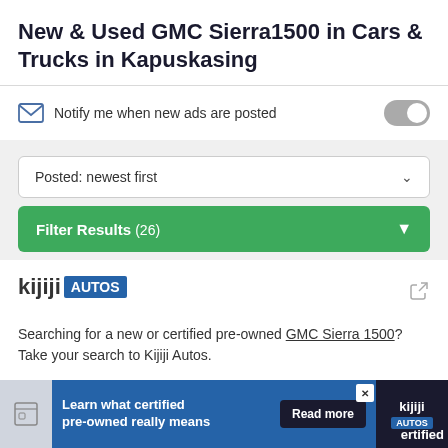New & Used GMC Sierra1500 in Cars & Trucks in Kapuskasing
Notify me when new ads are posted
Posted: newest first
Filter Results (26)
[Figure (logo): Kijiji AUTOS logo with external link icon]
Searching for a new or certified pre-owned GMC Sierra 1500? Take your search to Kijiji Autos.
[Figure (screenshot): Advertisement banner: Learn what certified pre-owned really means. Read more. Kijiji AUTOS. certified]